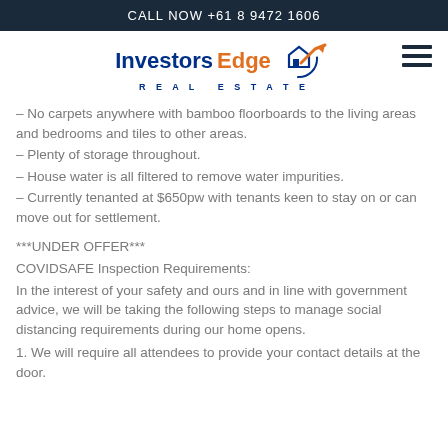CALL NOW +61 8 9472 1606
[Figure (logo): InvestorsEdge Real Estate logo with house and arrow icon]
– No carpets anywhere with bamboo floorboards to the living areas and bedrooms and tiles to other areas.
– Plenty of storage throughout.
– House water is all filtered to remove water impurities.
– Currently tenanted at $650pw with tenants keen to stay on or can move out for settlement.
***UNDER OFFER***
COVIDSAFE Inspection Requirements:
In the interest of your safety and ours and in line with government advice, we will be taking the following steps to manage social distancing requirements during our home opens.
1. We will require all attendees to provide your contact details at the door.